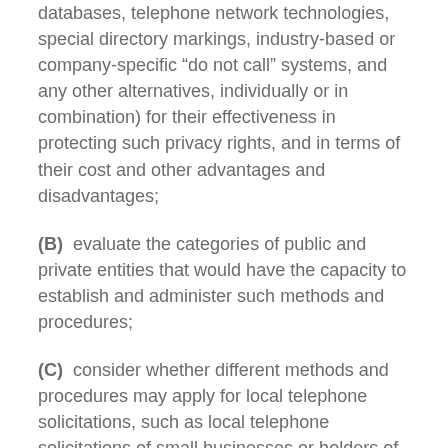databases, telephone network technologies, special directory markings, industry-based or company-specific “do not call” systems, and any other alternatives, individually or in combination) for their effectiveness in protecting such privacy rights, and in terms of their cost and other advantages and disadvantages;
(B)  evaluate the categories of public and private entities that would have the capacity to establish and administer such methods and procedures;
(C)  consider whether different methods and procedures may apply for local telephone solicitations, such as local telephone solicitations of small businesses or holders of